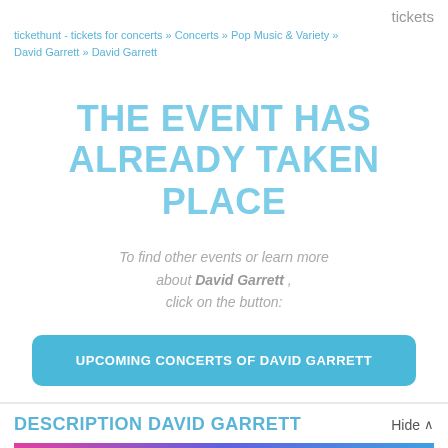tickets
tickethunt - tickets for concerts » Concerts » Pop Music & Variety » David Garrett » David Garrett
THE EVENT HAS ALREADY TAKEN PLACE
To find other events or learn more about David Garrett , click on the button:
UPCOMING CONCERTS OF DAVID GARRETT
DESCRIPTION DAVID GARRETT
Hide ^